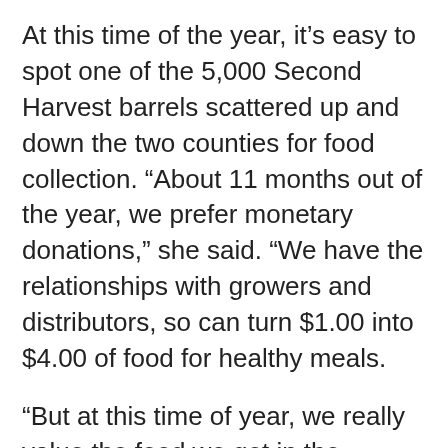At this time of the year, it's easy to spot one of the 5,000 Second Harvest barrels scattered up and down the two counties for food collection. “About 11 months out of the year, we prefer monetary donations,” she said. “We have the relationships with growers and distributors, so can turn $1.00 into $4.00 of food for healthy meals.
“But at this time of year, we really value the food we get in the barrels. It’s a simple way for everybody to participate and help make a difference. Almost everyone can drop a can of soup or similar item in a barrel. The size of the gift is not as important as the fact of the gift.
“We are one of only a handful of food banks